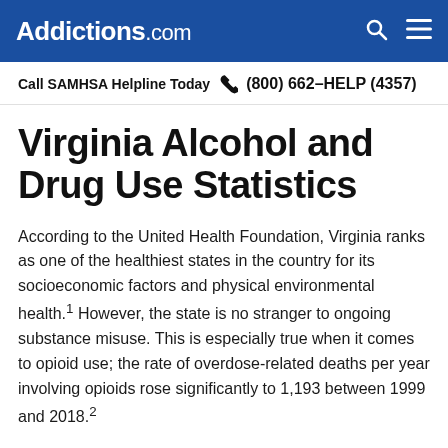Addictions.com
Call SAMHSA Helpline Today  (800) 662-HELP (4357)
Virginia Alcohol and Drug Use Statistics
According to the United Health Foundation, Virginia ranks as one of the healthiest states in the country for its socioeconomic factors and physical environmental health.1 However, the state is no stranger to ongoing substance misuse. This is especially true when it comes to opioid use; the rate of overdose-related deaths per year involving opioids rose significantly to 1,193 between 1999 and 2018.2